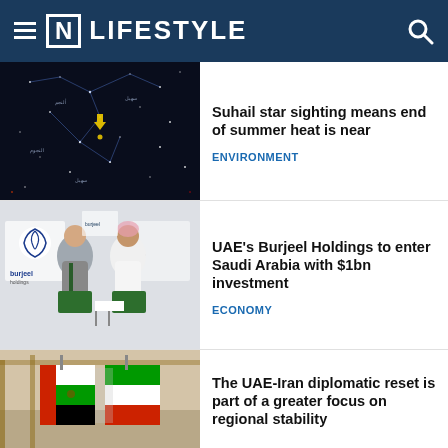≡ [N] LIFESTYLE
[Figure (photo): Night sky star map with constellation lines and a yellow arrow pointing to Suhail star]
Suhail star sighting means end of summer heat is near
ENVIRONMENT
[Figure (photo): Two men in formal attire standing in front of Burjeel Holdings logo, holding green folders, with small flags on a table]
UAE's Burjeel Holdings to enter Saudi Arabia with $1bn investment
ECONOMY
[Figure (photo): UAE and Iran flags side by side outdoors]
The UAE-Iran diplomatic reset is part of a greater focus on regional stability